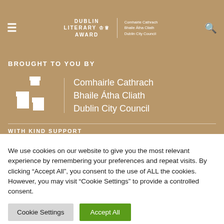DUBLIN LITERARY AWARD | Comhairle Cathrach Bhaile Átha Cliath Dublin City Council
BROUGHT TO YOU BY
[Figure (logo): Dublin City Council castle logo with text: Comhairle Cathrach Bhaile Átha Cliath Dublin City Council]
WITH KIND SUPPORT
We use cookies on our website to give you the most relevant experience by remembering your preferences and repeat visits. By clicking "Accept All", you consent to the use of ALL the cookies. However, you may visit "Cookie Settings" to provide a controlled consent.
Cookie Settings | Accept All